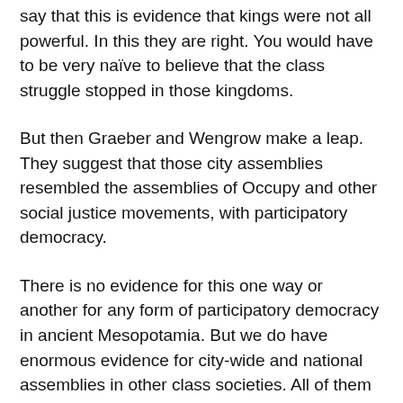say that this is evidence that kings were not all powerful. In this they are right. You would have to be very naïve to believe that the class struggle stopped in those kingdoms.
But then Graeber and Wengrow make a leap. They suggest that those city assemblies resembled the assemblies of Occupy and other social justice movements, with participatory democracy.
There is no evidence for this one way or another for any form of participatory democracy in ancient Mesopotamia. But we do have enormous evidence for city-wide and national assemblies in other class societies. All of them were dominated by the richer men and by powerful families. In ancient Sparta, landowners dominated. The same was true in the